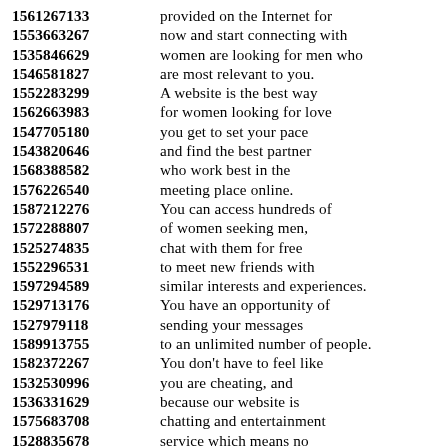1561267133 provided on the Internet for
1553663267 now and start connecting with
1535846629 women are looking for men who
1546581827 are most relevant to you.
1552283299 A website is the best way
1562663983 for women looking for love
1547705180 you get to set your pace
1543820646 and find the best partner
1568388582 who work best in the
1576226540 meeting place online.
1587212276 You can access hundreds of
1572288807 of women seeking men,
1525274835 chat with them for free
1552296531 to meet new friends with
1597294589 similar interests and experiences.
1529713176 You have an opportunity of
1527979118 sending your messages
1589913755 to an unlimited number of people.
1582372267 You don't have to feel like
1532530996 you are cheating, and
1536331629 because our website is
1575683708 chatting and entertainment
1528835678 service which means no
1545300350 physical interactions between
1548243646 men and women online!